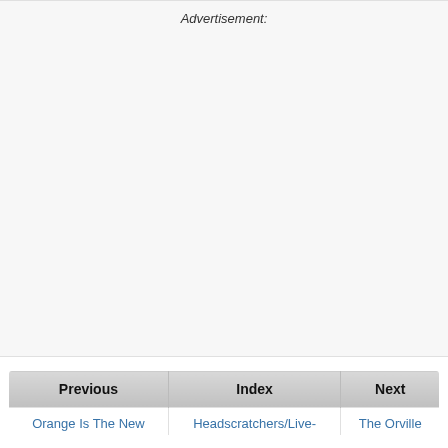Advertisement:
| Previous | Index | Next |
| --- | --- | --- |
| Orange Is The New | Headscratchers/Live- | The Orville |